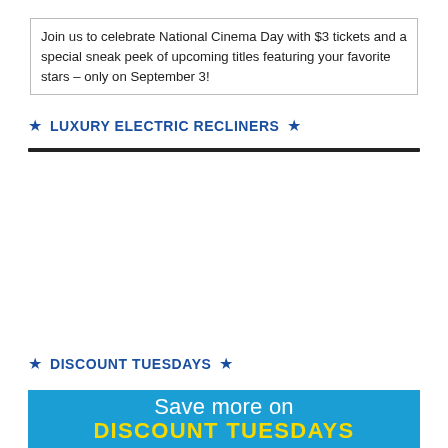Join us to celebrate National Cinema Day with $3 tickets and a special sneak peek of upcoming titles featuring your favorite stars – only on September 3!
★ LUXURY ELECTRIC RECLINERS ★
★ DISCOUNT TUESDAYS ★
[Figure (illustration): Blue promotional banner with cursive white text 'Save more on' and large bold yellow text 'DISCOUNT TUESDAYS' below]